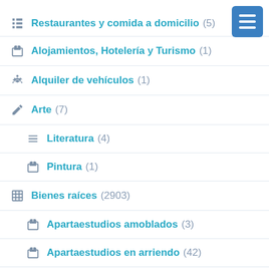Restaurantes y comida a domicilio (5)
Alojamientos, Hotelería y Turismo (1)
Alquiler de vehículos (1)
Arte (7)
Literatura (4)
Pintura (1)
Bienes raíces (2903)
Apartaestudios amoblados (3)
Apartaestudios en arriendo (42)
Apartaestudios en venta (55)
Apartamentos amoblados (11)